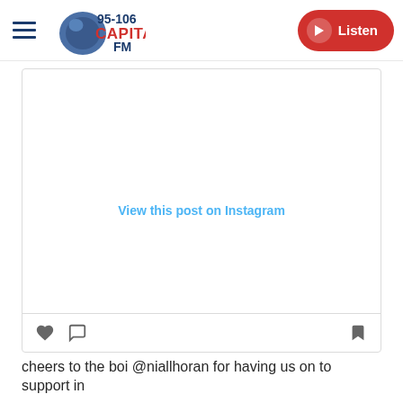95-106 Capital FM | Listen
[Figure (screenshot): Instagram embed placeholder showing 'View this post on Instagram' link with heart and bookmark icons at bottom]
cheers to the boi @niallhoran for having us on to support in